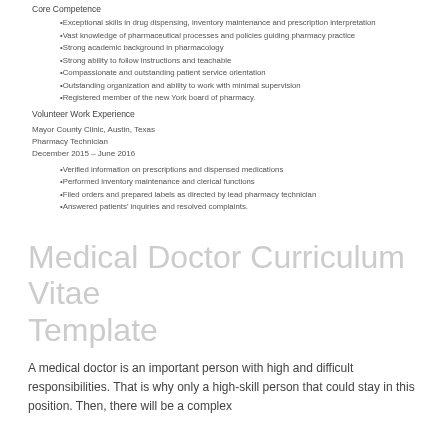Core Competence
Exceptional skills in drug dispensing, inventory maintenance and prescription interpretation
Vast knowledge of pharmaceutical processes and policies guiding pharmacy practice
Strong academic background in pharmacology
Strong ability to follow instructions and teachable
Compassionate and outstanding patient service orientation
Outstanding organization and ability to work with minimal supervision
Registered member of the new York board of pharmacy.
Volunteer Work Experience
Mayor County Clinic, Austin, Texas
Pharmacy Technician
December 2015 – June 2016
Verified information on prescriptions and dispensed medications
Performed inventory maintenance and clerical functions
Filed orders and prepared labels as directed by lead pharmacy technician
Answered patients' inquiries and resolved complaints.
Medical Doctor Curriculum Vitae Template
A medical doctor is an important person with high and difficult responsibilities. That is why only a high-skill person that could stay in this position. Then, there will be a complex